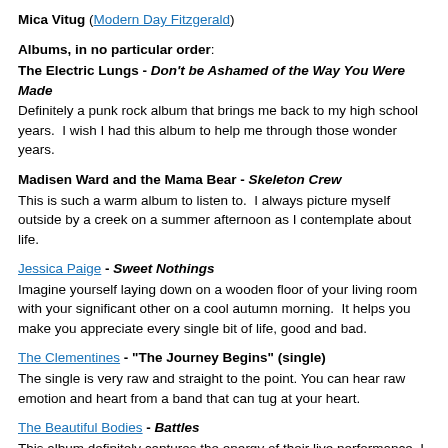Mica Vitug (Modern Day Fitzgerald)
Albums, in no particular order:
The Electric Lungs - Don't be Ashamed of the Way You Were Made
Definitely a punk rock album that brings me back to my high school years.  I wish I had this album to help me through those wonder years.
Madisen Ward and the Mama Bear - Skeleton Crew
This is such a warm album to listen to.  I always picture myself outside by a creek on a summer afternoon as I contemplate about life.
Jessica Paige - Sweet Nothings
Imagine yourself laying down on a wooden floor of your living room with your significant other on a cool autumn morning.  It helps you make you appreciate every single bit of life, good and bad.
The Clementines - "The Journey Begins" (single)
The single is very raw and straight to the point. You can hear raw emotion and heart from a band that can tug at your heart.
The Beautiful Bodies - Battles
This album definitely captures the energy of their live performance. I always blare it in my car, headbanging on my way to work.